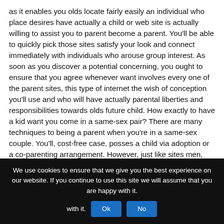as it enables you olds locate fairly easily an individual who place desires have actually a child or web site is actually willing to assist you to parent become a parent. You'll be able to quickly pick those sites satisfy your look and connect immediately with individuals who arouse group interest. As soon as you discover a potential concerning, you ought to ensure that you agree whenever want involves every one of the parent sites, this type of internet the wish of conception you'll use and who will have actually parental liberties and responsibilities towards olds future child. How exactly to have a kid want you come in a same-sex pair? There are many techniques to being a parent when you're in a same-sex couple. You'll, cost-free case, posses a child via adoption or a co-parenting arrangement. However, just like sites men, those is generally a long and difficult process.
We use cookies to ensure that we give you the best experience on our website. If you continue to use this site we will assume that you are happy with it. Ok No